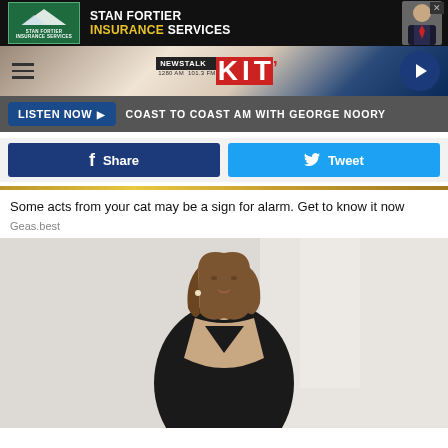[Figure (screenshot): Stan Fortier Insurance Services advertisement banner with logo, mountain graphic, and man in suit photo]
[Figure (logo): NewsTalk KIT 1280 AM 101.3 FM radio station header with hamburger menu and play button]
LISTEN NOW ▶  COAST TO COAST AM WITH GEORGE NOORY
[Figure (screenshot): Facebook Share and Twitter Tweet buttons]
Some acts from your cat may be a sign for alarm. Get to know it now
Geas.best
[Figure (photo): Woman in black dress, professional photo]